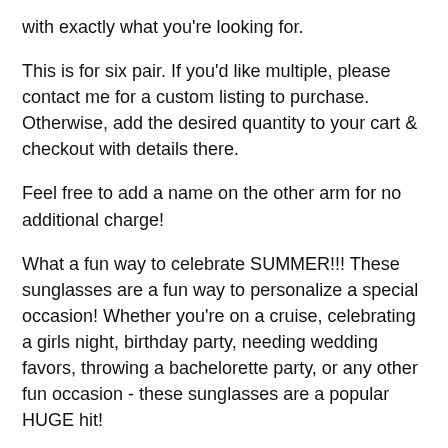with exactly what you're looking for.
This is for six pair. If you'd like multiple, please contact me for a custom listing to purchase. Otherwise, add the desired quantity to your cart & checkout with details there.
Feel free to add a name on the other arm for no additional charge!
What a fun way to celebrate SUMMER!!! These sunglasses are a fun way to personalize a special occasion! Whether you're on a cruise, celebrating a girls night, birthday party, needing wedding favors, throwing a bachelorette party, or any other fun occasion - these sunglasses are a popular HUGE hit!